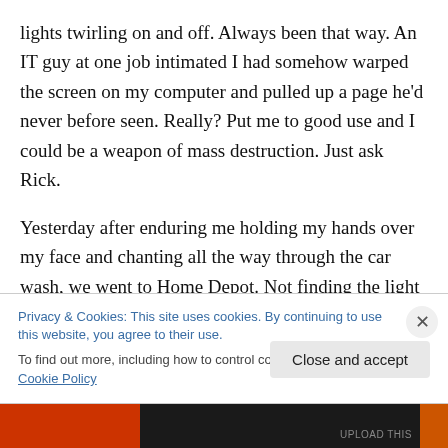lights twirling on and off. Always been that way. An IT guy at one job intimated I had somehow warped the screen on my computer and pulled up a page he'd never before seen. Really? Put me to good use and I could be a weapon of mass destruction. Just ask Rick.
Yesterday after enduring me holding my hands over my face and chanting all the way through the car wash, we went to Home Depot. Not finding the light we were searching for I picked up a small house plant. Deciding on the self-checkout with only one item, I scanned the bar
Privacy & Cookies: This site uses cookies. By continuing to use this website, you agree to their use.
To find out more, including how to control cookies, see here: Cookie Policy
Close and accept